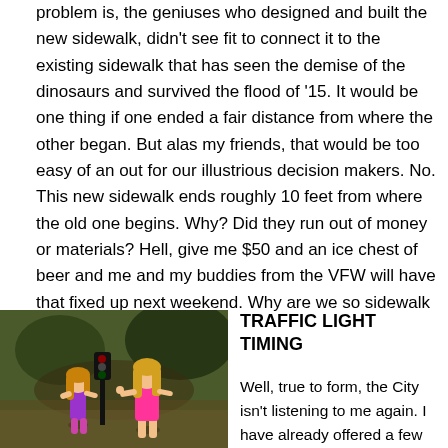problem is, the geniuses who designed and built the new sidewalk, didn't see fit to connect it to the existing sidewalk that has seen the demise of the dinosaurs and survived the flood of '15. It would be one thing if one ended a fair distance from where the other began. But alas my friends, that would be too easy of an out for our illustrious decision makers. No. This new sidewalk ends roughly 10 feet from where the old one begins. Why? Did they run out of money or materials? Hell, give me $50 and an ice chest of beer and me and my buddies from the VFW will have that fixed up next weekend. Why are we so sidewalk stupid in this town?
[Figure (photo): Two Barbie dolls standing near a miniature traffic light on an outdoor blurred background]
TRAFFIC LIGHT TIMING
Well, true to form, the City isn't listening to me again. I have already offered a few